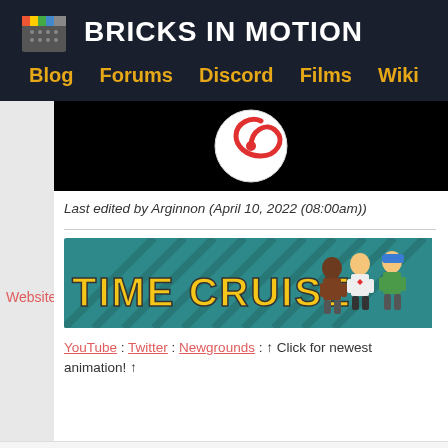BRICKS IN MOTION
Blog   Forums   Discord   Films   Wiki
[Figure (screenshot): Dark background with a red and white spinning top on black background]
Last edited by Arginnon (April 10, 2022 (08:00am))
[Figure (screenshot): Time Cruisers banner with LEGO minifigures on teal background]
YouTube : Twitter : Newgrounds :  ↑ Click for newest animation! ↑
Website
Puskov   November 12, 2021 (11:07am)